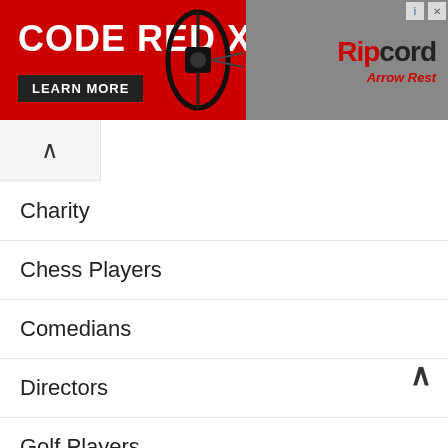[Figure (photo): Advertisement banner for 'Code Red X' Ripcord Arrow Rest product on red and grey background with bow component image]
Charity
Chess Players
Comedians
Directors
Golf Players
Internet Celebrities
Models
Politicians